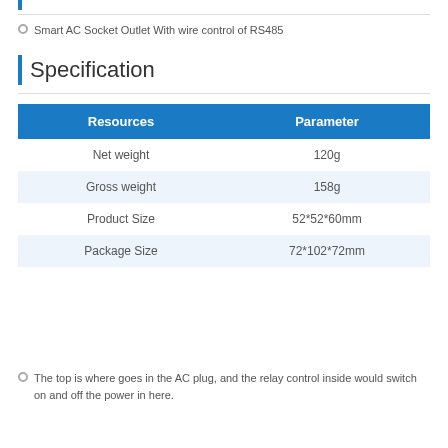Smart AC Socket Outlet With wire control of RS485
Specification
| Resources | Parameter |
| --- | --- |
| Net weight | 120g |
| Gross weight | 158g |
| Product Size | 52*52*60mm |
| Package Size | 72*102*72mm |
The top is where goes in the AC plug, and the relay control inside would switch on and off the power in here.